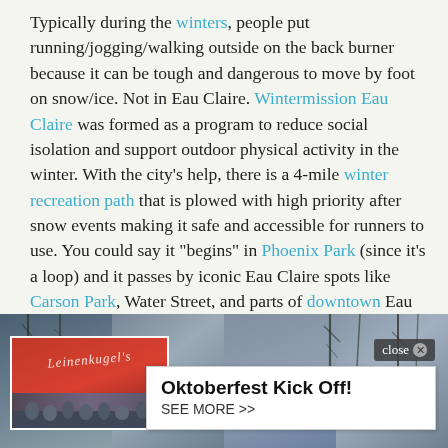Typically during the winters, people put running/jogging/walking outside on the back burner because it can be tough and dangerous to move by foot on snow/ice. Not in Eau Claire. Wintermission Eau Claire was formed as a program to reduce social isolation and support outdoor physical activity in the winter. With the city's help, there is a 4-mile winter recreation path that is plowed with high priority after snow events making it safe and accessible for runners to use. You could say it "begins" in Phoenix Park (since it's a loop) and it passes by iconic Eau Claire spots like Carson Park, Water Street, and parts of downtown Eau Claire.
[Figure (photo): Photo collage of winter outdoor scenes in Eau Claire with an advertisement overlay for Oktoberfest Kick Off. The overlay has a close button and reads 'Oktoberfest Kick Off! SEE MORE >>'. There is a smaller inset photo on the left showing a crowd with a Leinenkugel's sign.]